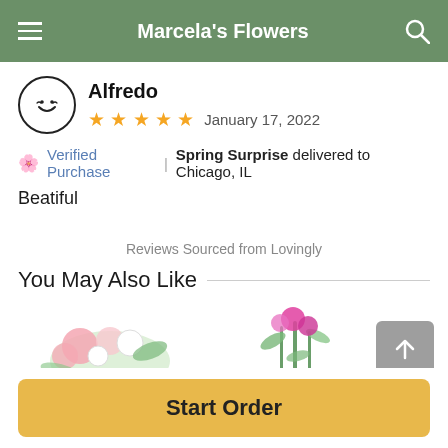Marcela's Flowers
Alfredo
★★★★★  January 17, 2022
🌸 Verified Purchase  |  Spring Surprise delivered to Chicago, IL
Beatiful
Reviews Sourced from Lovingly
You May Also Like
[Figure (photo): Flower arrangement photos partially visible at bottom of page]
Start Order